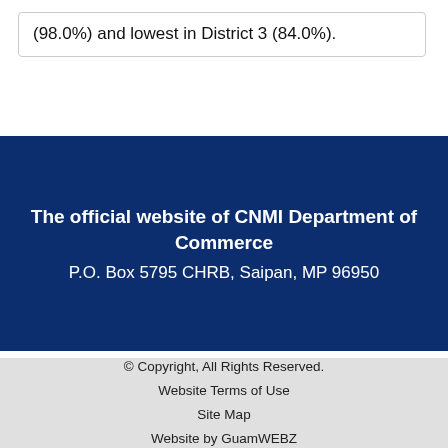(98.0%) and lowest in District 3 (84.0%).
The official website of CNMI Department of Commerce
P.O. Box 5795 CHRB, Saipan, MP 96950
© Copyright, All Rights Reserved.
Website Terms of Use
Site Map
Website by GuamWEBZ